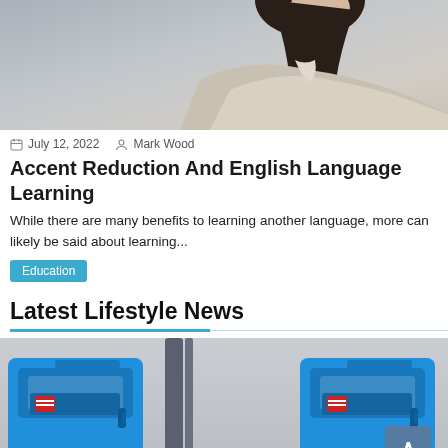[Figure (photo): Photo of a young woman with long dark hair seen from behind/side, wearing a light beige jacket, against a gray background.]
July 12, 2022   Mark Wood
Accent Reduction And English Language Learning
While there are many benefits to learning another language, more can likely be said about learning...
Education
Latest Lifestyle News
[Figure (photo): Photo of two blue portable toilets (portable restrooms) standing side by side, with steel poles/posts visible behind them against a light gray wall.]